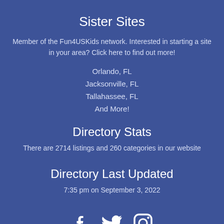Sister Sites
Member of the Fun4USKids network. Interested in starting a site in your area? Click here to find out more!
Orlando, FL
Jacksonville, FL
Tallahassee, FL
And More!
Directory Stats
There are 2714 listings and 260 categories in our website
Directory Last Updated
7:35 pm on September 3, 2022
[Figure (illustration): Social media icons: Facebook, Twitter, Instagram]